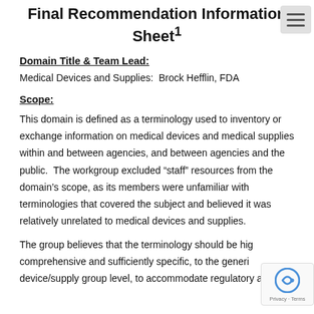Final Recommendation Information Sheet¹
Domain Title & Team Lead:
Medical Devices and Supplies:  Brock Hefflin, FDA
Scope:
This domain is defined as a terminology used to inventory or exchange information on medical devices and medical supplies within and between agencies, and between agencies and the public.  The workgroup excluded “staff” resources from the domain’s scope, as its members were unfamiliar with terminologies that covered the subject and believed it was relatively unrelated to medical devices and supplies.
The group believes that the terminology should be hig comprehensive and sufficiently specific, to the generi device/supply group level, to accommodate regulatory and